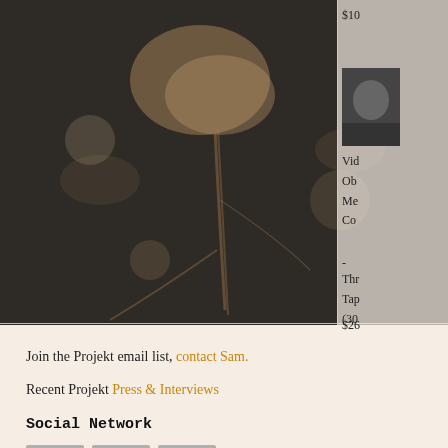[Figure (photo): Textured light beige/cream background with brown organic stain marks resembling a botanical or abstract form, possibly a microscopy or nature photograph]
$10
[Figure (photo): Small thumbnail image in right sidebar, dark/grayscale photo]
Vid
Ob
Me
Co
-
Thr
Tap
(30
$26
Join the Projekt email list, contact Sam.
Recent Projekt Press & Interviews
Social Network